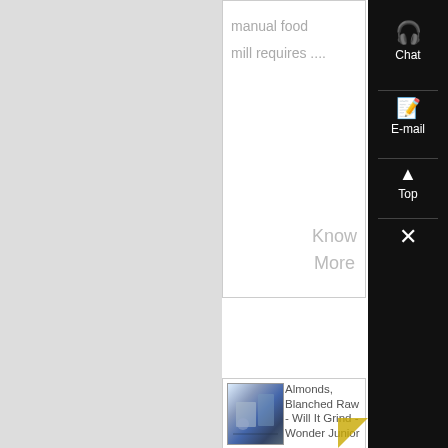manual food mill requires ....
Know More
[Figure (photo): Industrial machinery/mill equipment in a warehouse setting]
Almonds, Blanched Raw - Will It Grind - Wonder Junior ,
Feb 01, 2011·
See willitgrind/ for more videos of what you can mill with , Almonds